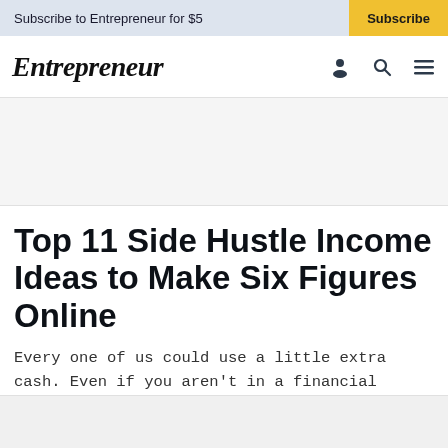Subscribe to Entrepreneur for $5  |  Subscribe
Entrepreneur
Top 11 Side Hustle Income Ideas to Make Six Figures Online
Every one of us could use a little extra cash. Even if you aren't in a financial crisis, you could put that extra money towards good use. For example,